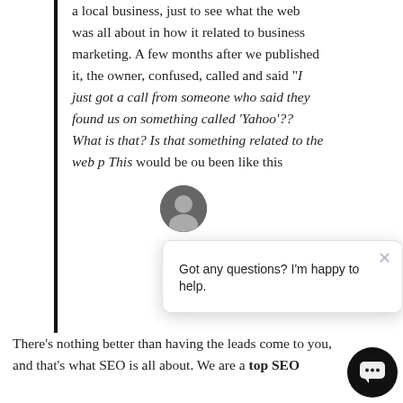a local business, just to see what the web was all about in how it related to business marketing. A few months after we published it, the owner, confused, called and said "I just got a call from someone who said they found us on something called 'Yahoo'?? What is that? Is that something related to the web p[...] This would be ou[...] been like this[...]
There's nothing better than having the leads come to you, and that's what SEO is all about. We are a top SEO